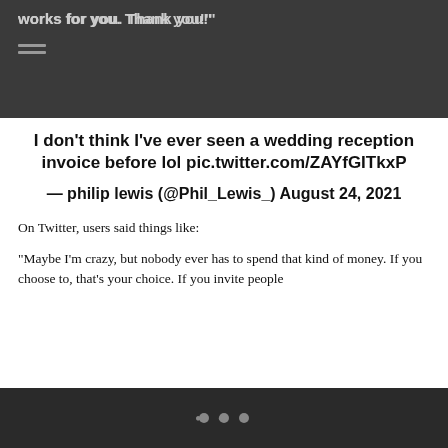works for you. Thank you!
I don't think I've ever seen a wedding reception invoice before lol pic.twitter.com/ZAYfGITkxP
— philip lewis (@Phil_Lewis_) August 24, 2021
On Twitter, users said things like:
“Maybe I’m crazy, but nobody ever has to spend that kind of money. If you choose to, that’s your choice. If you invite people
• • •